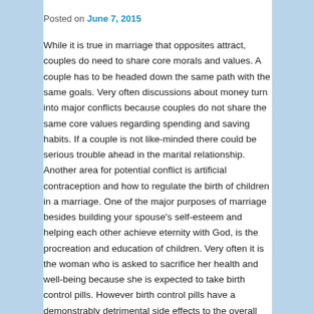Posted on June 7, 2015
While it is true in marriage that opposites attract, couples do need to share core morals and values. A couple has to be headed down the same path with the same goals. Very often discussions about money turn into major conflicts because couples do not share the same core values regarding spending and saving habits. If a couple is not like-minded there could be serious trouble ahead in the marital relationship. Another area for potential conflict is artificial contraception and how to regulate the birth of children in a marriage. One of the major purposes of marriage besides building your spouse's self-esteem and helping each other achieve eternity with God, is the procreation and education of children. Very often it is the woman who is asked to sacrifice her health and well-being because she is expected to take birth control pills. However birth control pills have a demonstrably detrimental side effects to the overall health of a woman. A couple should share the core morality of regulating births through Natural Family Planning (NFP). A man who